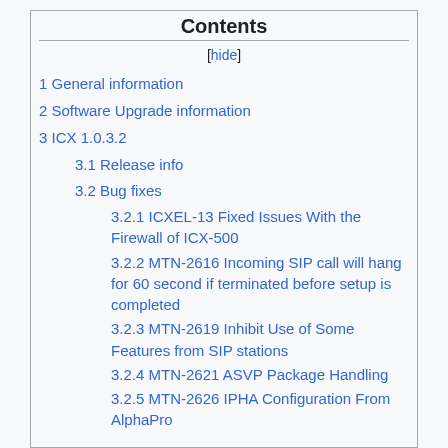Contents
[hide]
1 General information
2 Software Upgrade information
3 ICX 1.0.3.2
3.1 Release info
3.2 Bug fixes
3.2.1 ICXEL-13 Fixed Issues With the Firewall of ICX-500
3.2.2 MTN-2616 Incoming SIP call will hang for 60 second if terminated before setup is completed
3.2.3 MTN-2619 Inhibit Use of Some Features from SIP stations
3.2.4 MTN-2621 ASVP Package Handling
3.2.5 MTN-2626 IPHA Configuration From AlphaPro